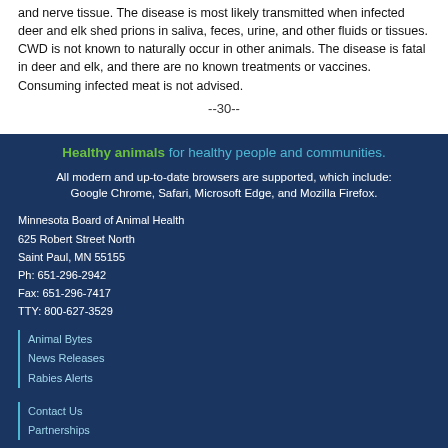and nerve tissue. The disease is most likely transmitted when infected deer and elk shed prions in saliva, feces, urine, and other fluids or tissues. CWD is not known to naturally occur in other animals. The disease is fatal in deer and elk, and there are no known treatments or vaccines. Consuming infected meat is not advised.
--30--
Healthy animals for healthy people and communities.
All modern and up-to-date browsers are supported, which include: Google Chrome, Safari, Microsoft Edge, and Mozilla Firefox.
Minnesota Board of Animal Health
625 Robert Street North
Saint Paul, MN 55155
Ph: 651-296-2942
Fax: 651-296-7417
TTY: 800-627-3529
Animal Bytes
News Releases
Rabies Alerts
Contact Us
Partnerships